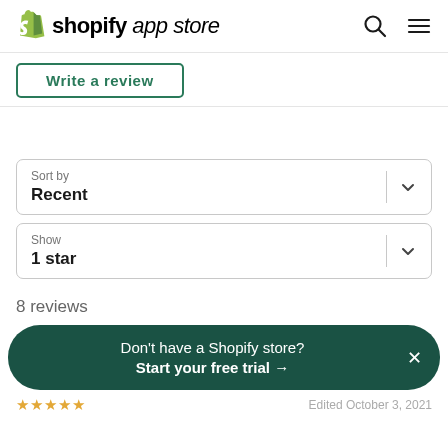shopify app store
Write a review
Sort by
Recent
Show
1 star
8 reviews
Don't have a Shopify store? Start your free trial →
Edited October 3, 2021